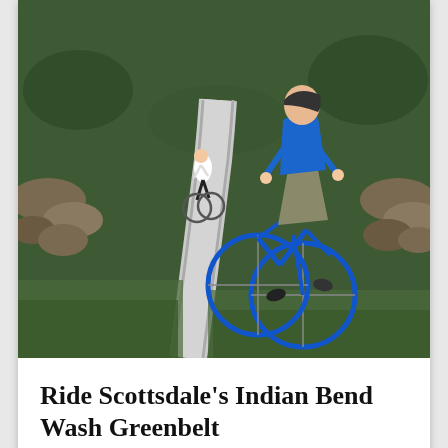[Figure (photo): Two cyclists riding on a paved path through a desert landscape with rocks and sparse vegetation on either side. One cyclist in white shirt and another in blue shirt on a blue bicycle are visible from behind.]
Ride Scottsdale's Indian Bend Wash Greenbelt
Siera W
[Figure (photo): Panoramic desert landscape view showing a wide valley with city sprawl, rocky outcroppings in the foreground, and a blue sky with white clouds above.]